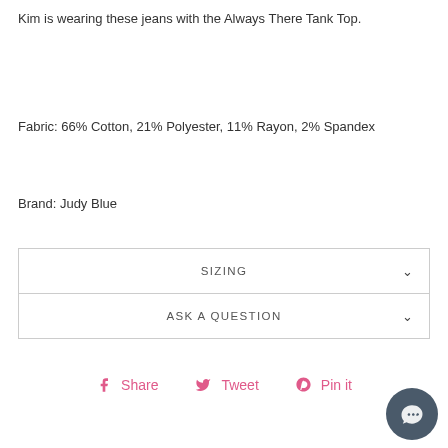Kim is wearing these jeans with the Always There Tank Top.
Fabric: 66% Cotton, 21% Polyester, 11% Rayon, 2% Spandex
Brand: Judy Blue
SIZING
ASK A QUESTION
Share   Tweet   Pin it